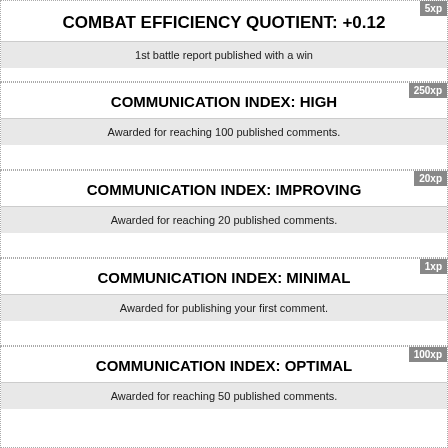COMBAT EFFICIENCY QUOTIENT: +0.12
1st battle report published with a win
COMMUNICATION INDEX: HIGH
Awarded for reaching 100 published comments.
COMMUNICATION INDEX: IMPROVING
Awarded for reaching 20 published comments.
COMMUNICATION INDEX: MINIMAL
Awarded for publishing your first comment.
COMMUNICATION INDEX: OPTIMAL
Awarded for reaching 50 published comments.